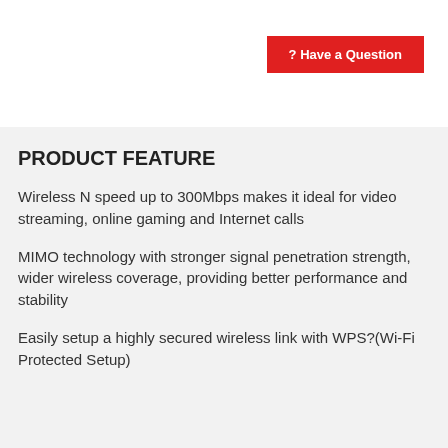? Have a Question
Description
Specifications
Reviews☆☆☆☆☆
PRODUCT FEATURE
Wireless N speed up to 300Mbps makes it ideal for video streaming, online gaming and Internet calls
MIMO technology with stronger signal penetration strength, wider wireless coverage, providing better performance and stability
Easily setup a highly secured wireless link with WPS?(Wi-Fi Protected Setup)